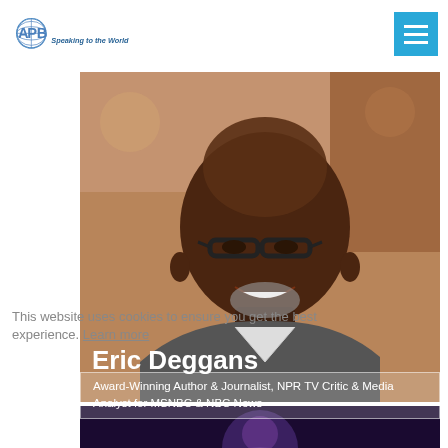[Figure (logo): APB Speakers Bureau logo with globe and text 'Speaking to the World']
[Figure (photo): Portrait photo of Eric Deggans, a smiling Black man with glasses and gray beard wearing a suit]
This website uses cookies to ensure you get the best experience. Learn more
Eric Deggans
Award-Winning Author & Journalist, NPR TV Critic & Media Analyst for MSNBC & NBC News
[Figure (photo): Partial circular portrait photo at bottom of page]